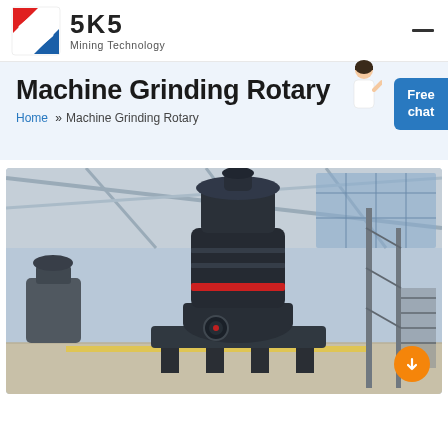SKS Mining Technology
Machine Grinding Rotary
Home » Machine Grinding Rotary
[Figure (photo): A large industrial grinding mill machine (rotary grinding machine) standing in a factory/warehouse setting with steel structure roof and natural lighting. The machine is dark grey/black with a cylindrical tower design and red accent ring, mounted on a sturdy frame base.]
Free chat